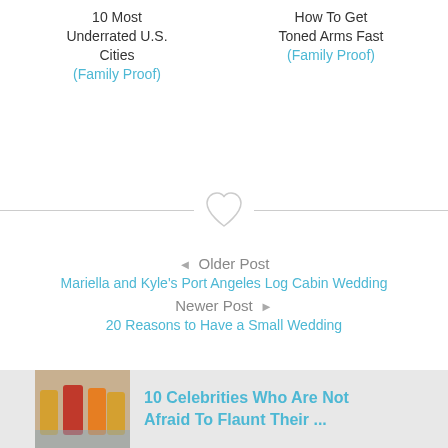10 Most Underrated U.S. Cities
(Family Proof)
How To Get Toned Arms Fast
(Family Proof)
[Figure (other): Heart icon divider with horizontal lines on either side]
◄ Older Post
Mariella and Kyle's Port Angeles Log Cabin Wedding
Newer Post ►
20 Reasons to Have a Small Wedding
[Figure (photo): Photo of women in bikinis on a beach]
10 Celebrities Who Are Not Afraid To Flaunt Their ...